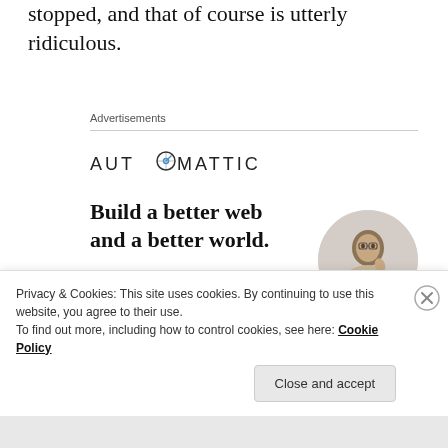stopped, and that of course is utterly ridiculous.
Advertisements
[Figure (logo): AUTOMATTIC logo in uppercase sans-serif letters with a compass/circle icon replacing the O]
[Figure (infographic): Automattic ad: 'Build a better web and a better world.' with an Apply button and a circular photo of a man in a beige shirt]
Privacy & Cookies: This site uses cookies. By continuing to use this website, you agree to their use.
To find out more, including how to control cookies, see here: Cookie Policy
Close and accept